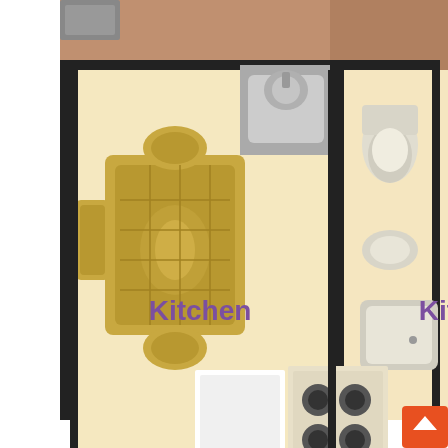[Figure (schematic): Floor plan showing Kitchen and Living Room areas. The kitchen area (top center-right) contains a sink, stove/range, refrigerator, and toilet/bathroom fixtures in an adjacent bathroom. A dining table with chairs is shown on the left. The lower portion shows the Living Room with a sofa/armchair visible. Room labels 'Kitchen' and 'Living Room' are displayed in purple text.]